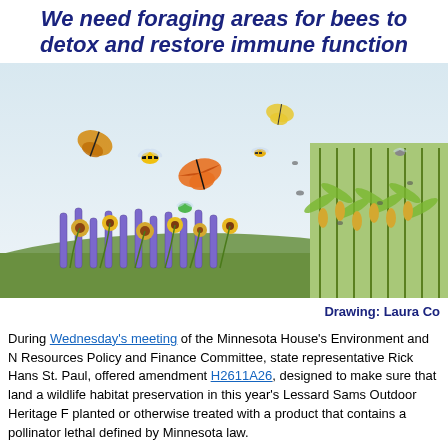We need foraging areas for bees to detox and restore immune function
[Figure (illustration): Illustration of bees, butterflies, and other pollinators flying over a wildflower meadow with purple and yellow flowers on the left, and tall corn stalks on the right. A watercolor-style nature scene showing contrast between pollinator habitat and agricultural land.]
Drawing: Laura Co
During Wednesday's meeting of the Minnesota House's Environment and Natural Resources Policy and Finance Committee, state representative Rick Hanson of St. Paul, offered amendment H2611A26, designed to make sure that land acquired for wildlife habitat preservation in this year's Lessard Sams Outdoor Heritage Fund is not planted or otherwise treated with a product that contains a pollinator lethal neonicotinoid as defined by Minnesota law.